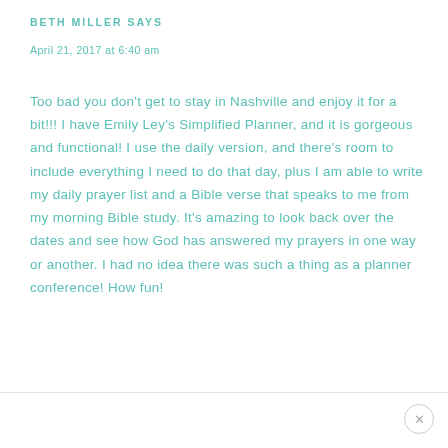BETH MILLER SAYS
April 21, 2017 at 6:40 am
Too bad you don't get to stay in Nashville and enjoy it for a bit!!! I have Emily Ley's Simplified Planner, and it is gorgeous and functional! I use the daily version, and there's room to include everything I need to do that day, plus I am able to write my daily prayer list and a Bible verse that speaks to me from my morning Bible study. It's amazing to look back over the dates and see how God has answered my prayers in one way or another. I had no idea there was such a thing as a planner conference! How fun!